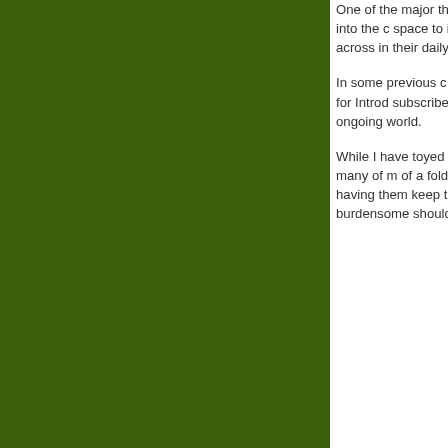One of the major themes ... focus on ongoing in... creep up into the c... space to incorpora... theoretical and em... across in their daily...
In some previous c... there has, occasion... assistant for Introd... subscribed to the M... page covered. Thi... ongoing world.
While I have toyed... students to subscri... not think many of m... of a folded newspa... in the glove box (a... having them keep ... the constant flux in... be too burdensome... should know.